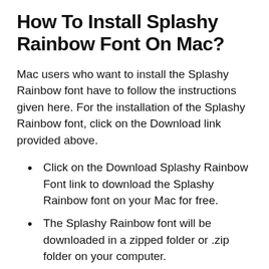How To Install Splashy Rainbow Font On Mac?
Mac users who want to install the Splashy Rainbow font have to follow the instructions given here. For the installation of the Splashy Rainbow font, click on the Download link provided above.
Click on the Download Splashy Rainbow Font link to download the Splashy Rainbow font on your Mac for free.
The Splashy Rainbow font will be downloaded in a zipped folder or .zip folder on your computer.
Now, go ahead, and unpack the zipped